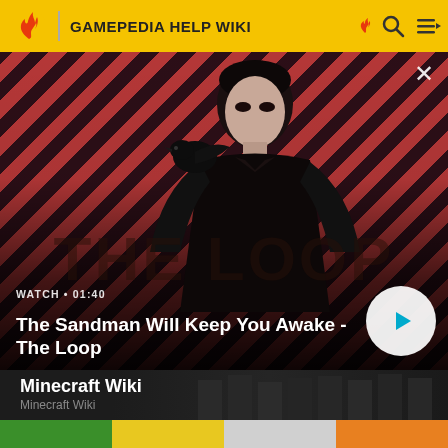GAMEPEDIA HELP WIKI
[Figure (screenshot): Video thumbnail for 'The Sandman Will Keep You Awake - The Loop' showing a dark figure with a crow on a red striped background with a play button]
WATCH • 01:40
The Sandman Will Keep You Awake - The Loop
[Figure (screenshot): Minecraft Wiki card with dark background and minecraft block decorations]
Minecraft Wiki
Minecraft Wiki